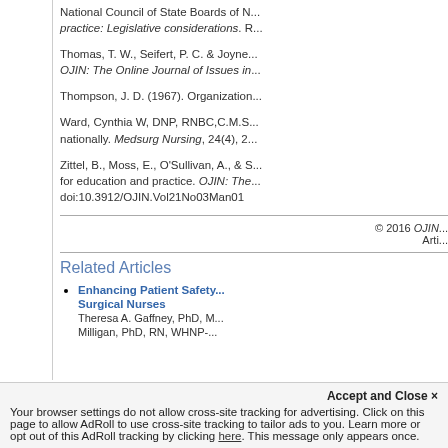National Council of State Boards of N... practice: Legislative considerations. R...
Thomas, T. W., Seifert, P. C. & Joyne... OJIN: The Online Journal of Issues in...
Thompson, J. D. (1967). Organization...
Ward, Cynthia W, DNP, RNBC,C.M.S... nationally. Medsurg Nursing, 24(4), 2...
Zittel, B., Moss, E., O'Sullivan, A., & S... for education and practice. OJIN: The... doi:10.3912/OJIN.Vol21No03Man01
© 2016 OJIN... Arti...
Related Articles
Enhancing Patient Safety... Surgical Nurses
Theresa A. Gaffney, PhD, M... Milligan, PhD, RN, WHNP-...
Accept and Close ✕
Your browser settings do not allow cross-site tracking for advertising. Click on this page to allow AdRoll to use cross-site tracking to tailor ads to you. Learn more or opt out of this AdRoll tracking by clicking here. This message only appears once.